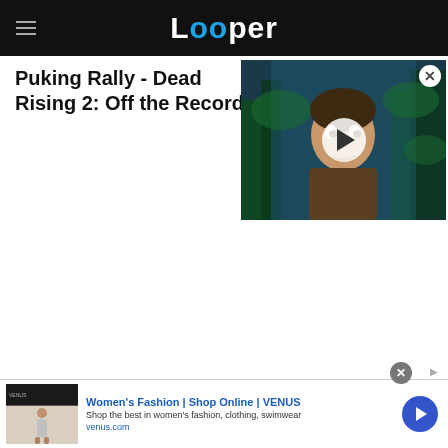Looper
Puking Rally - Dead Rising 2: Off the Record
[Figure (screenshot): Video thumbnail showing a young man with dark hair in a forest/jungle setting with blue-green tones, with a play button overlay. Close (X) button in top-right corner.]
[Figure (screenshot): Advertisement: Women's Fashion | Shop Online | VENUS. Shop the best in women's fashion, clothing, swimwear. venus.com. Ad shows a small image of a fashion website and a blue arrow button.]